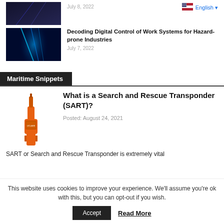[Figure (photo): Dark technological image thumbnail at top left]
July 8, 2022
[Figure (screenshot): US flag icon for English language selector]
English ▾
[Figure (photo): Digital tunnel / data stream image thumbnail]
Decoding Digital Control of Work Systems for Hazard-prone Industries
July 7, 2022
Maritime Snippets
[Figure (photo): Orange SART (Search and Rescue Transponder) device]
What is a Search and Rescue Transponder (SART)?
Posted: August 24, 2021
SART or Search and Rescue Transponder is extremely vital
This website uses cookies to improve your experience. We'll assume you're ok with this, but you can opt-out if you wish.
Accept
Read More